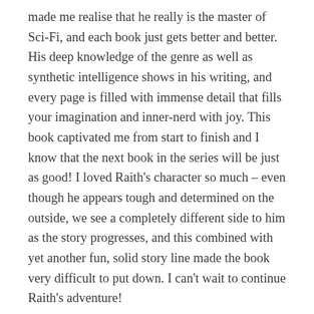made me realise that he really is the master of Sci-Fi, and each book just gets better and better. His deep knowledge of the genre as well as synthetic intelligence shows in his writing, and every page is filled with immense detail that fills your imagination and inner-nerd with joy. This book captivated me from start to finish and I know that the next book in the series will be just as good! I loved Raith's character so much – even though he appears tough and determined on the outside, we see a completely different side to him as the story progresses, and this combined with yet another fun, solid story line made the book very difficult to put down. I can't wait to continue Raith's adventure!
A huge thanks to C.D. Tavenor for the copy of this book, and I wish you all the best in the world for it and...